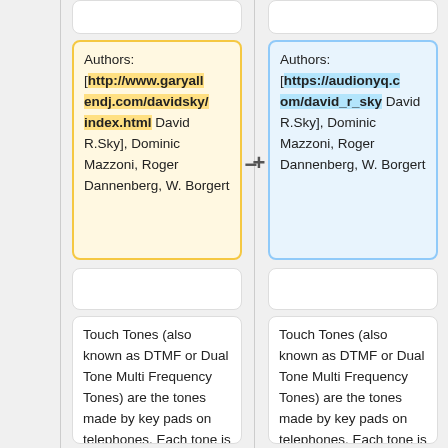Authors: [http://www.garyallendj.com/davidsky/index.html David R.Sky], Dominic Mazzoni, Roger Dannenberg, W. Borgert
Authors: [https://audionyq.com/david_r_sky David R.Sky], Dominic Mazzoni, Roger Dannenberg, W. Borgert
Touch Tones (also known as DTMF or Dual Tone Multi Frequency Tones) are the tones made by key pads on telephones. Each tone is comprised of two separate tones at different pitch, hence "dual tone".
Touch Tones (also known as DTMF or Dual Tone Multi Frequency Tones) are the tones made by key pads on telephones. Each tone is comprised of two separate tones at different pitch, hence "dual tone".